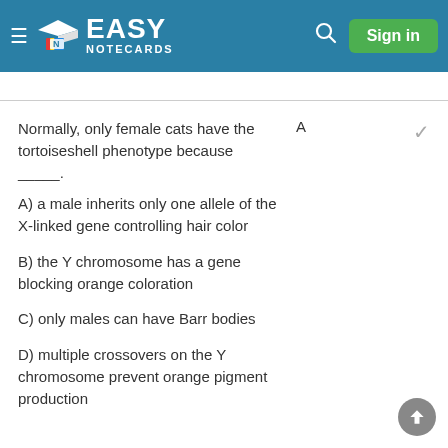Easy Notecards — Sign in
Normally, only female cats have the tortoiseshell phenotype because _____.
A
A) a male inherits only one allele of the X-linked gene controlling hair color
B) the Y chromosome has a gene blocking orange coloration
C) only males can have Barr bodies
D) multiple crossovers on the Y chromosome prevent orange pigment production